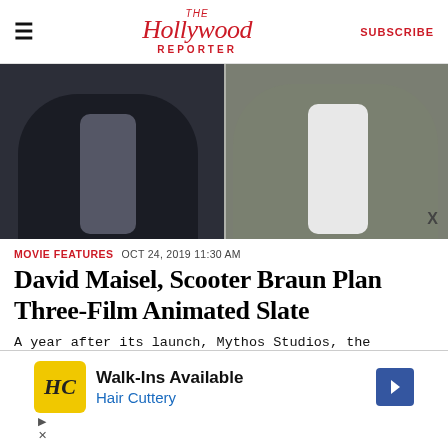The Hollywood Reporter  SUBSCRIBE
[Figure (photo): Two men photographed from shoulders/chest down — one on left in dark blazer over grey shirt, one on right in grey blazer over open white dress shirt. Split image with white divider.]
MOVIE FEATURES  OCT 24, 2019 11:30 AM
David Maisel, Scooter Braun Plan Three-Film Animated Slate
A year after its launch, Mythos Studios, the fledgling company led by Marvel Studios founding chairman David Maisel and record executive Scooter Braun, said Friday it is in active development on three animated features.
[Figure (screenshot): Advertisement for Hair Cuttery: Walk-Ins Available. Shows Hair Cuttery logo (HC in yellow square), blue navigation arrow icon, and play/close controls at bottom.]